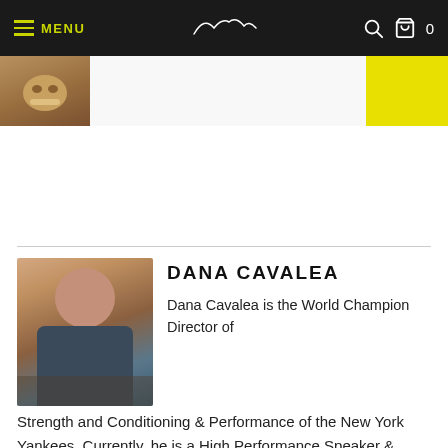MENU | [logo] | [search] [cart] 0
[Figure (photo): Partial top banner image with yellow background on right side]
DANA CAVALEA
[Figure (photo): Portrait photo of Dana Cavalea sitting outdoors in casual clothing]
Dana Cavalea is the World Champion Director of Strength and Conditioning & Performance of the New York Yankees. Currently, he is a High Performance Speaker & Consultant to Pro Athletes, Entrepreneurs, Business Executives, and Workforces on lifestyle strategies to reduce stress, improve